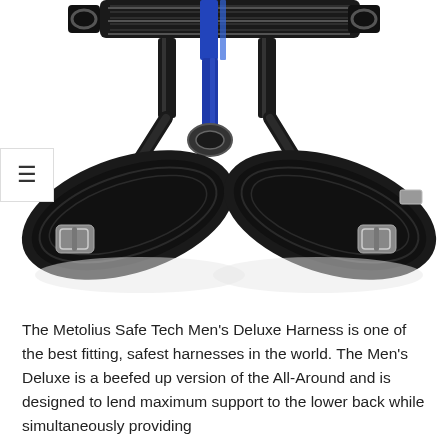[Figure (photo): Close-up photograph of a Metolius Safe Tech Men's Deluxe climbing harness showing the leg loops and waist belt in black with blue and gray webbing accents, on a white background. A hamburger menu icon (three horizontal lines) is visible in the upper-left area of the image.]
The Metolius Safe Tech Men's Deluxe Harness is one of the best fitting, safest harnesses in the world. The Men's Deluxe is a beefed up version of the All-Around and is designed to lend maximum support to the lower back while simultaneously providing